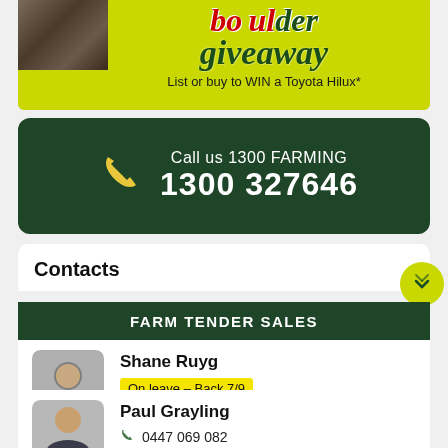[Figure (illustration): Promotional banner with yellow-green background, boulder/rock image on the left, large dark green cursive 'giveaway' text, and subtitle 'List or buy to WIN a Toyota Hilux*']
Call us 1300 FARMING
1300 327646
Contacts
FARM TENDER SALES
Shane Ruyg
On leave – Back 7/9
Paul Grayling
0447 069 082